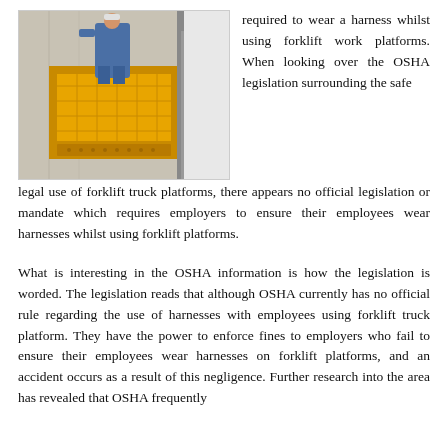[Figure (photo): A worker in blue overalls standing on a yellow elevated forklift work platform (cage/basket) attached to a forklift, photographed from outside against a building.]
required to wear a harness whilst using forklift work platforms. When looking over the OSHA legislation surrounding the safe legal use of forklift truck platforms, there appears no official legislation or mandate which requires employers to ensure their employees wear harnesses whilst using forklift platforms.
What is interesting in the OSHA information is how the legislation is worded. The legislation reads that although OSHA currently has no official rule regarding the use of harnesses with employees using forklift truck platform. They have the power to enforce fines to employers who fail to ensure their employees wear harnesses on forklift platforms, and an accident occurs as a result of this negligence. Further research into the area has revealed that OSHA frequently